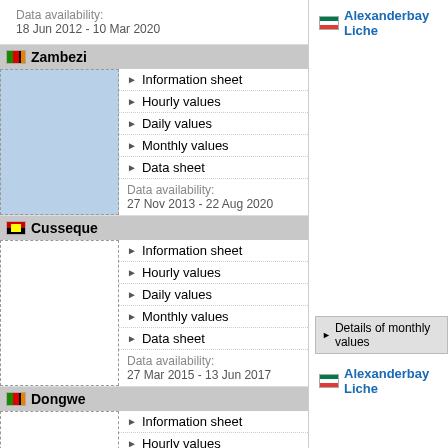Data availability:
18 Jun 2012 - 10 Mar 2020
Zambezi
Information sheet
Hourly values
Daily values
Monthly values
Data sheet
Data availability:
27 Nov 2013 - 22 Aug 2020
Cusseque
Information sheet
Hourly values
Daily values
Monthly values
Data sheet
Data availability:
27 Mar 2015 - 13 Jun 2017
Dongwe
Information sheet
Hourly values
Daily values
Monthly values
Data sheet
Alexanderbay Liche
Details of monthly values
Alexanderbay Liche